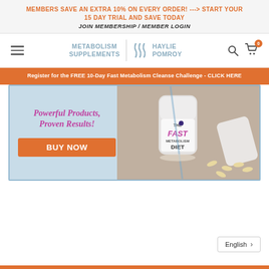MEMBERS SAVE AN EXTRA 10% ON EVERY ORDER! ---> START YOUR 15 DAY TRIAL AND SAVE TODAY
JOIN MEMBERSHIP / MEMBER LOGIN
[Figure (logo): Navigation bar with hamburger menu, Metabolism Supplements logo, Haylie Pomroy logo, search icon, and cart icon with 0 badge]
Register for the FREE 10-Day Fast Metabolism Cleanse Challenge - CLICK HERE
[Figure (photo): Hero banner with blue border showing 'Powerful Products, Proven Results!' tagline in pink cursive, orange BUY NOW button on the left, and photo of The Fast Metabolism Diet shaker cup with supplement capsules on the right]
English >